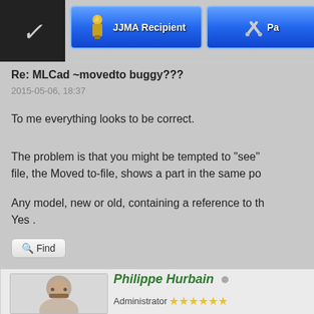[Figure (screenshot): JJMA Recipient badge - blue gradient button with trophy icon]
[Figure (screenshot): Tools/Pa badge - blue gradient button with wrench and screwdriver icon]
Re: MLCad ~movedto buggy???
2015-05-06, 18:37
To me everything looks to be correct.
The problem is that you might be tempted to "see" file, the Moved to-file, shows a part in the same po
Any model, new or old, containing a reference to th Yes .
[Figure (photo): Portrait photo of Philippe Hurbain, man with beard and glasses]
Philippe Hurbain
Administrator ★★★★★★